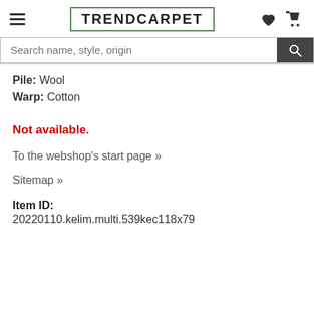TRENDCARPET (with hamburger menu, heart icon, cart icon, and search bar: Search name, style, origin)
Pile: Wool
Warp: Cotton
Not available.
To the webshop's start page »
Sitemap »
Item ID:
20220110.kelim.multi.539kec118x79